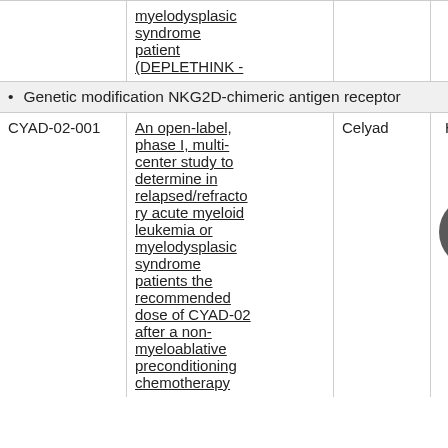|  | myelodysplasic syndrome patient (DEPLETHINK - |  |  |
| --- | --- | --- | --- |
|  | myelodysplasic syndrome patient (DEPLETHINK - |  |  |
| • Genetic modification NKG2D-chimeric antigen receptor |  |  |  |
| CYAD-02-001 | An open-label, phase I, multi-center study to determine in relapsed/refractory acute myeloid leukemia or myelodysplasic syndrome patients the recommended dose of CYAD-02 after a non-myeloablative preconditioning chemotherapy | Celyad | Humans |